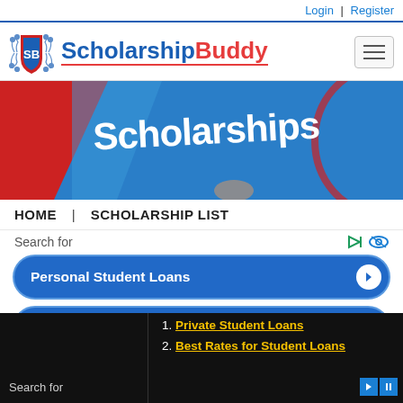Login | Register
[Figure (logo): ScholarshipBuddy logo with shield icon showing 'SB' and site name in blue/red text]
[Figure (photo): Banner image with 'Scholarships' text written in white chalk-style on blue background with red geometric shapes]
HOME | SCHOLARSHIP LIST
Search for
Personal Student Loans
Parent Student Loans
Search for
1. Private Student Loans
2. Best Rates for Student Loans